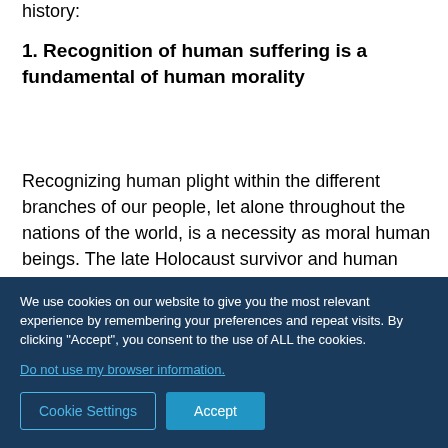history:
1. Recognition of human suffering is a fundamental of human morality
Recognizing human plight within the different branches of our people, let alone throughout the nations of the world, is a necessity as moral human beings. The late Holocaust survivor and human rights
We use cookies on our website to give you the most relevant experience by remembering your preferences and repeat visits. By clicking "Accept", you consent to the use of ALL the cookies.
Do not use my browser information.